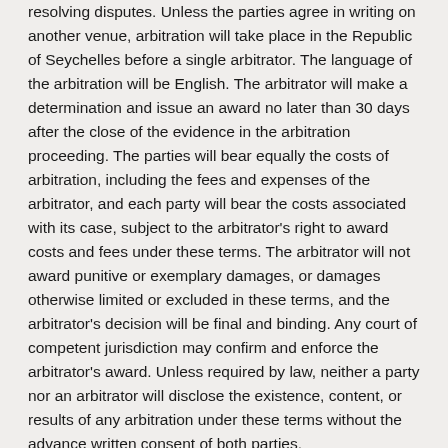resolving disputes. Unless the parties agree in writing on another venue, arbitration will take place in the Republic of Seychelles before a single arbitrator. The language of the arbitration will be English. The arbitrator will make a determination and issue an award no later than 30 days after the close of the evidence in the arbitration proceeding. The parties will bear equally the costs of arbitration, including the fees and expenses of the arbitrator, and each party will bear the costs associated with its case, subject to the arbitrator's right to award costs and fees under these terms. The arbitrator will not award punitive or exemplary damages, or damages otherwise limited or excluded in these terms, and the arbitrator's decision will be final and binding. Any court of competent jurisdiction may confirm and enforce the arbitrator's award. Unless required by law, neither a party nor an arbitrator will disclose the existence, content, or results of any arbitration under these terms without the advance written consent of both parties.
18.5 Right to Injunctive Relief
Both parties acknowledge that remedies at law may be inadequate to provide an aggrieved party with full payment if the other party breaches these terms, and that an aggrieved party